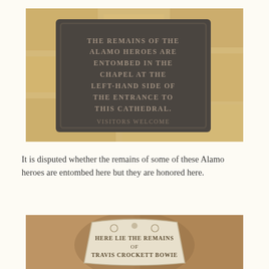[Figure (photo): Photograph of a dark bronze/iron rectangular plaque mounted on a light stone wall. The plaque text reads: THE REMAINS OF THE ALAMO HEROES ARE ENTOMBED IN THE CHAPEL AT THE LEFT-HAND SIDE OF THE ENTRANCE TO THIS CATHEDRAL. VISITORS WELCOME]
It is disputed whether the remains of some of these Alamo heroes are entombed here but they are honored here.
[Figure (photo): Photograph of a carved stone or marble grave marker/plaque in a niche, showing decorative scroll motifs and text: HERE LIE THE REMAINS OF TRAVIS CROCKETT BOWIE]